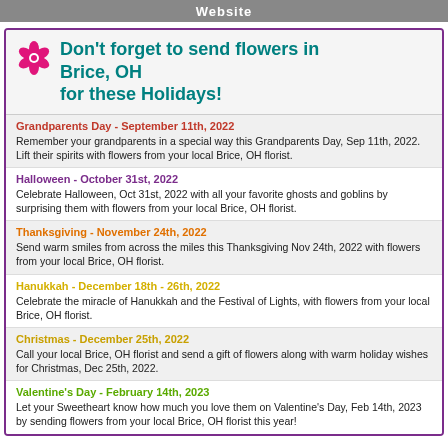Website
Don't forget to send flowers in Brice, OH for these Holidays!
Grandparents Day - September 11th, 2022
Remember your grandparents in a special way this Grandparents Day, Sep 11th, 2022. Lift their spirits with flowers from your local Brice, OH florist.
Halloween - October 31st, 2022
Celebrate Halloween, Oct 31st, 2022 with all your favorite ghosts and goblins by surprising them with flowers from your local Brice, OH florist.
Thanksgiving - November 24th, 2022
Send warm smiles from across the miles this Thanksgiving Nov 24th, 2022 with flowers from your local Brice, OH florist.
Hanukkah - December 18th - 26th, 2022
Celebrate the miracle of Hanukkah and the Festival of Lights, with flowers from your local Brice, OH florist.
Christmas - December 25th, 2022
Call your local Brice, OH florist and send a gift of flowers along with warm holiday wishes for Christmas, Dec 25th, 2022.
Valentine's Day - February 14th, 2023
Let your Sweetheart know how much you love them on Valentine's Day, Feb 14th, 2023 by sending flowers from your local Brice, OH florist this year!